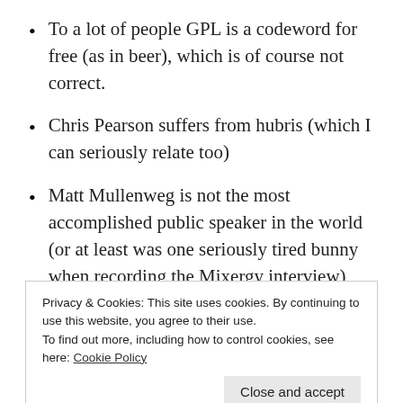To a lot of people GPL is a codeword for free (as in beer), which is of course not correct.
Chris Pearson suffers from hubris (which I can seriously relate too)
Matt Mullenweg is not the most accomplished public speaker in the world (or at least was one seriously tired bunny when recording the Mixergy interview)
In a clash of personalities (not necessarily of will
Privacy & Cookies: This site uses cookies. By continuing to use this website, you agree to their use.
To find out more, including how to control cookies, see here: Cookie Policy
Close and accept
Listening to the interview Pearson comes off as being